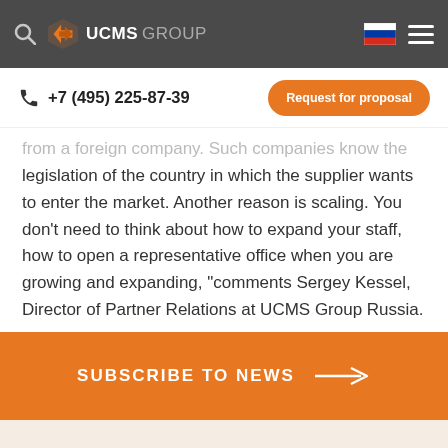UCMS GROUP
+7 (495) 225-87-39
Request for proposal
from a foreign company. Such companies know the legislation of the country in which the supplier wants to enter the market. Another reason is scaling. You don't need to think about how to expand your staff, how to open a representative office when you are growing and expanding, “comments Sergey Kessel, Director of Partner Relations at UCMS Group Russia.
SUBSCRIBE TO NEWS →